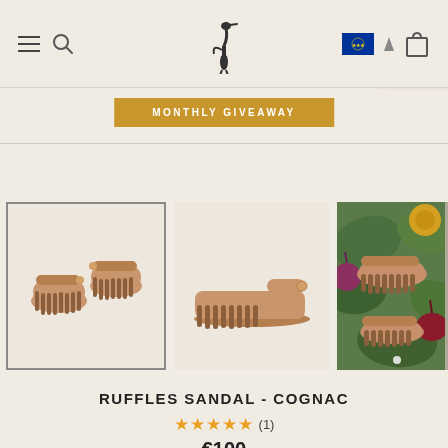Navigation header with hamburger menu, search icon, heron logo, EU flag, and cart icon
MONTHLY GIVEAWAY
[Figure (photo): Three product views of the Ruffles Sandal in Cognac: top-down view of pair (selected thumbnail with border), side view of single sandal, and lifestyle photo of sandals on vegetables/greenery background]
RUFFLES SANDAL - COGNAC
★★★★★ (1)
€100